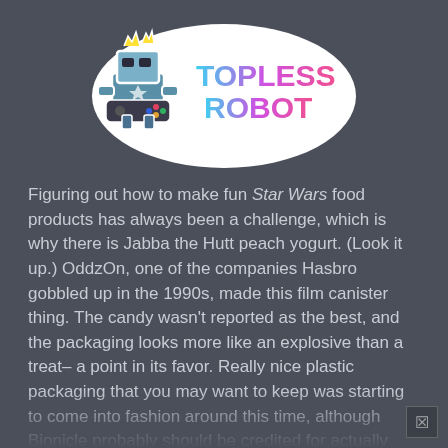[Figure (logo): Topless Robot logo — cartoon robot character holding a gaming controller with lightning bolts, next to colorful retro-styled 'TOPLESS ROBOT' text in pink/blue gradient with white outline sticker effect]
Figuring out how to make fun Star Wars food products has always been a challenge, which is why there is Jabba the Hutt peach yogurt. (Look it up.) OddzOn, one of the companies Hasbro gobbled up in the 1990s, made this film canister thing. The candy wasn't reported as the best, and the packaging looks more like an explosive than a treat– a point in its favor. Really nice plastic packaging that you may want to keep was starting to come into fashion around this time, although Bionicle probably should be credited for actually making it work. Did anyone buy these silvery canisters with a character staring at them from the top? None. That's why you don't see